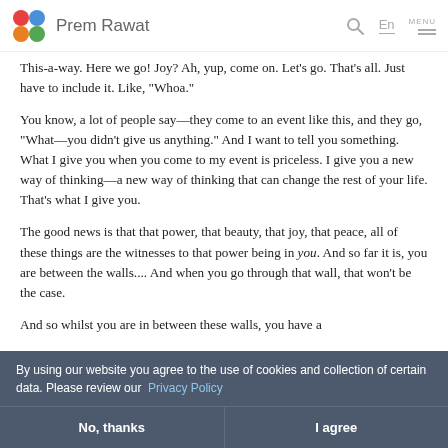Prem Rawat
This-a-way. Here we go! Joy? Ah, yup, come on. Let's go. That's all. Just have to include it. Like, “Whoa.”
You know, a lot of people say—they come to an event like this, and they go, “What—you didn’t give us anything.” And I want to tell you something. What I give you when you come to my event is priceless. I give you a new way of thinking—a new way of thinking that can change the rest of your life. That’s what I give you.
The good news is that that power, that beauty, that joy, that peace, all of these things are the witnesses to that power being in you. And so far it is, you are between the walls.... And when you go through that wall, that won’t be the case.
And so whilst you are in between these walls, you have a
By using our website you agree to the use of cookies and collection of certain data. Please review our Privacy Policy
No, thanks | I agree